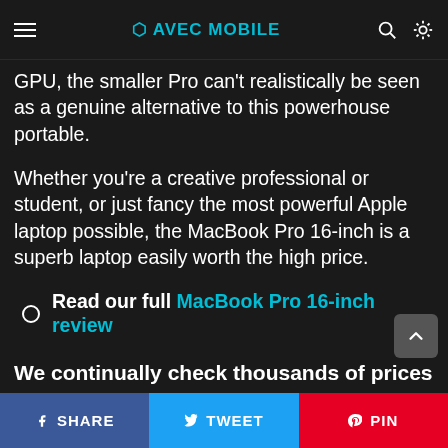☰ AVEC MOBILE
GPU, the smaller Pro can't realistically be seen as a genuine alternative to this powerhouse portable.
Whether you're a creative professional or student, or just fancy the most powerful Apple laptop possible, the MacBook Pro 16-inch is a superb laptop easily worth the high price.
Read our full MacBook Pro 16-inch review
We continually check thousands of prices to show you the best deals. If you buy a product through our site we will earn a small commission from the retailer...